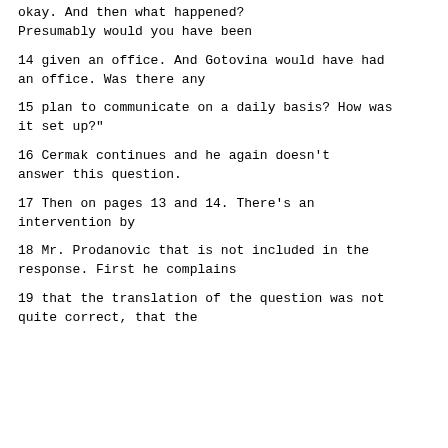okay.  And then what happened?  Presumably would you have been
14      given an office.  And Gotovina would have had an office.  Was there any
15      plan to communicate on a daily basis?  How was it set up?"
16            Cermak continues and he again doesn't answer this question.
17            Then on pages 13 and 14.  There's an intervention by
18      Mr. Prodanovic that is not included in the response.  First he complains
19      that the translation of the question was not quite correct, that the